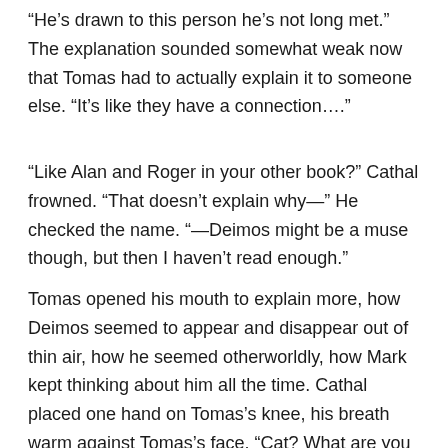“He’s drawn to this person he’s not long met.” The explanation sounded somewhat weak now that Tomas had to actually explain it to someone else. “It’s like they have a connection….”
“Like Alan and Roger in your other book?” Cathal frowned. “That doesn’t explain why—” He checked the name. “—Deimos might be a muse though, but then I haven’t read enough.”
Tomas opened his mouth to explain more, how Deimos seemed to appear and disappear out of thin air, how he seemed otherworldly, how Mark kept thinking about him all the time. Cathal placed one hand on Tomas’s knee, his breath warm against Tomas’s face. “Cat? What are you doing?”